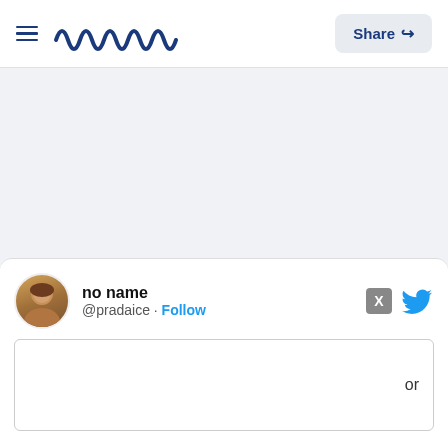Meamw | Share
[Figure (screenshot): Screenshot of a web page with a Meamw logo header and a Twitter/X embedded tweet card at the bottom showing user 'no name' @pradaice with a Follow button]
no name @pradaice · Follow
or